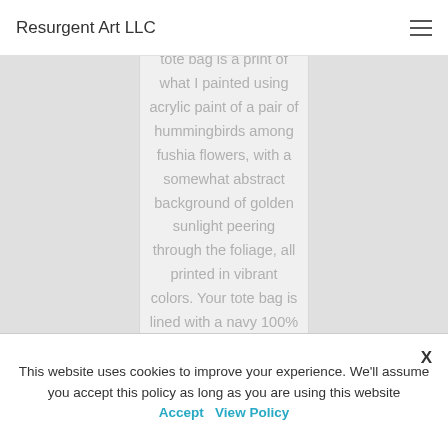Resurgent Art LLC
tote bag is a print of what I painted using acrylic paint of a pair of hummingbirds among fushia flowers, with a somewhat abstract background of golden sunlight peering through the foliage, all printed in vibrant colors. Your tote bag is lined with a navy 100% cotton
This website uses cookies to improve your experience. We'll assume you accept this policy as long as you are using this website Accept View Policy